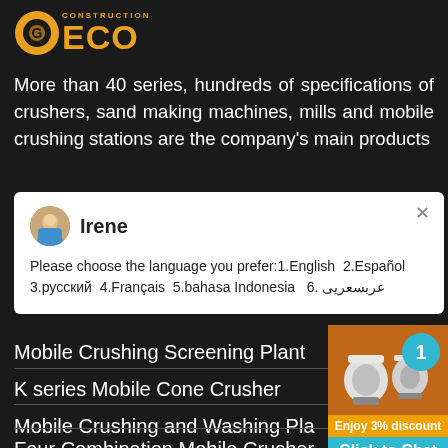[Figure (logo): Construction ECO logo with orange icon and orange ECO text]
More than 40 series, hundreds of specifications of crushers, sand making machines, mills and mobile crushing stations are the company's main products
[Figure (screenshot): Chat popup from Irene: Please choose the language you prefer:1.English  2.Español  3.русский  4.Français  5.bahasa Indonesia  6. عربسعريى]
Mobile Crushing Screening Plant
K series Mobile Cone Crusher
Mobile Crushing and Washing Pla
Four Combination Mobile Crusher
[Figure (infographic): Right sidebar with machine images, circle badge '1', Enjoy 3% discount, Click to Chat, Enquiry]